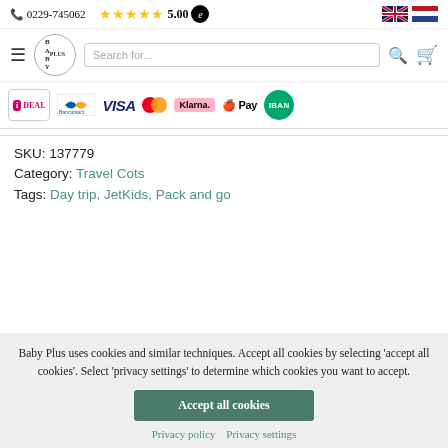☎ 0229-745062  ★★★★★ 5.00  [e]  🇬🇧 🇳🇱
[Figure (logo): Baby Plus logo circle with hamburger menu, search bar, search icon and cart icon]
[Figure (infographic): Payment method logos: iDEAL, Bancontact, VISA, Mastercard, Klarna, Apple Pay, IBAN]
SKU: 137779
Category: Travel Cots
Tags: Day trip, JetKids, Pack and go
Baby Plus uses cookies and similar techniques. Accept all cookies by selecting 'accept all cookies'. Select 'privacy settings' to determine which cookies you want to accept.
Accept all cookies
Privacy policy  Privacy settings